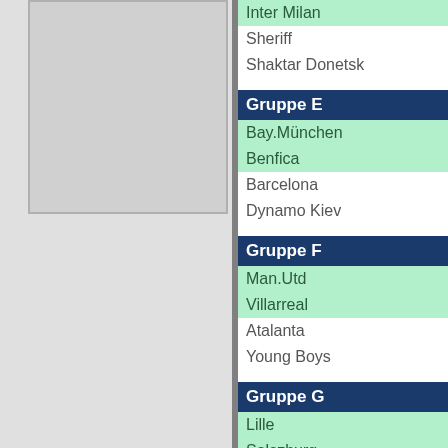[Figure (other): Left grey panel with darker inner rectangle, representing a cropped image or placeholder area]
Inter Milan
Sheriff
Shaktar Donetsk
Gruppe E
Bay.München
Benfica
Barcelona
Dynamo Kiev
Gruppe F
Man.Utd
Villarreal
Atalanta
Young Boys
Gruppe G
Lille
Salszburg
Sevilla